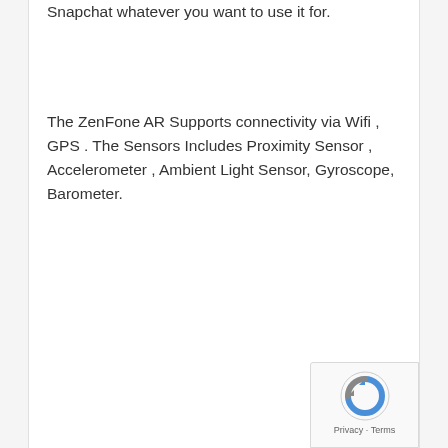Snapchat whatever you want to use it for.
The ZenFone AR Supports connectivity via Wifi , GPS . The Sensors Includes Proximity Sensor , Accelerometer , Ambient Light Sensor, Gyroscope, Barometer.
[Figure (logo): reCAPTCHA badge with Privacy and Terms text]